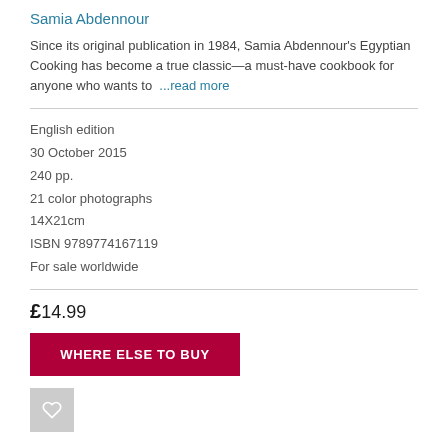Samia Abdennour
Since its original publication in 1984, Samia Abdennour's Egyptian Cooking has become a true classic—a must-have cookbook for anyone who wants to …read more
English edition
30 October 2015
240 pp.
21 color photographs
14X21cm
ISBN 9789774167119
For sale worldwide
£14.99
WHERE ELSE TO BUY